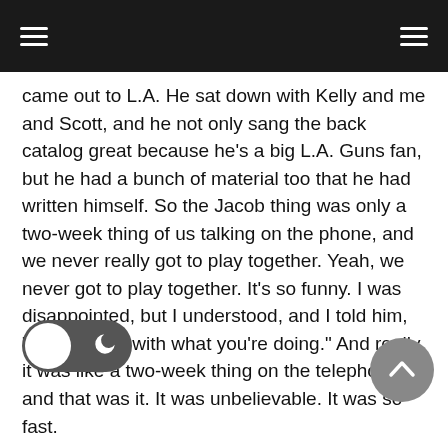came out to L.A. He sat down with Kelly and me and Scott, and he not only sang the back catalog great because he’s a big L.A. Guns fan, but he had a bunch of material too that he had written himself. So the Jacob thing was only a two-week thing of us talking on the phone, and we never really got to play together. Yeah, we never got to play together. It’s so funny. I was disappointed, but I understood, and I told him, “Best of luck with what you’re doing.” And really, it was like a two-week thing on the telephone, and that was it. It was unbelievable. It was so fast.
K… xcellent choice for the band because he’s not a Phil Lewis clone. I remember the time